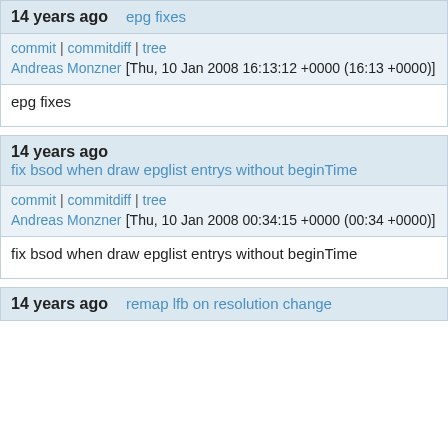14 years ago   epg fixes
commit | commitdiff | tree
Andreas Monzner [Thu, 10 Jan 2008 16:13:12 +0000 (16:13 +0000)]
epg fixes
14 years ago   fix bsod when draw epglist entrys without beginTime
commit | commitdiff | tree
Andreas Monzner [Thu, 10 Jan 2008 00:34:15 +0000 (00:34 +0000)]
fix bsod when draw epglist entrys without beginTime
14 years ago   remap lfb on resolution change